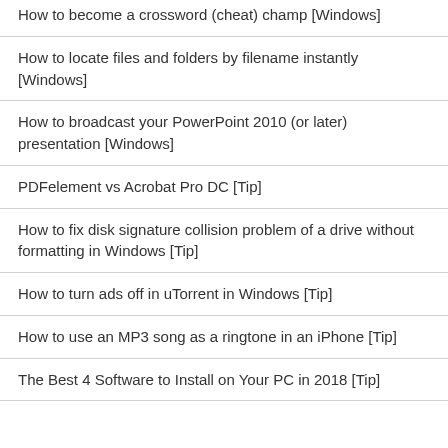How to become a crossword (cheat) champ [Windows]
How to locate files and folders by filename instantly [Windows]
How to broadcast your PowerPoint 2010 (or later) presentation [Windows]
PDFelement vs Acrobat Pro DC [Tip]
How to fix disk signature collision problem of a drive without formatting in Windows [Tip]
How to turn ads off in uTorrent in Windows [Tip]
How to use an MP3 song as a ringtone in an iPhone [Tip]
The Best 4 Software to Install on Your PC in 2018 [Tip]